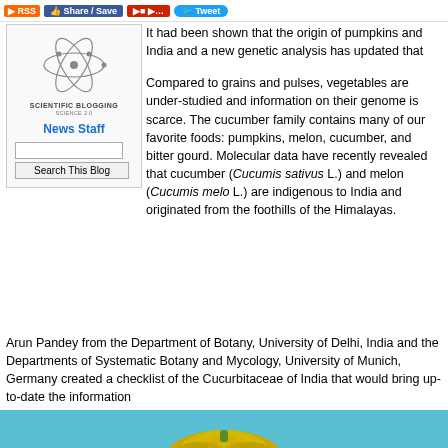RSS | Share/Save | Tweet
[Figure (logo): Scientific Blogging Science 2.0 logo with atomic/molecular icon]
News Staff
Search This Blog
It had been shown that the origin of pumpkins and India and a new genetic analysis has updated that
Compared to grains and pulses, vegetables are under-studied and information on their genome is scarce. The cucumber family contains many of our favorite foods: pumpkins, melon, cucumber, watermelon and bitter gourd. Molecular data have recently revealed that cucumber (Cucumis sativus L.) and melon (Cucumis melo L.) are indigenous to India and originated from the foothills of the Himalayas.
Arun Pandey from the Department of Botany, University of Delhi, India and the Departments of Systematic Botany and Mycology, University of Munich, Germany created a checklist of the Cucurbitaceae of India that would bring up-to-date the information
[Figure (photo): Photo of a gourd or squash vegetable on a blue/teal background]